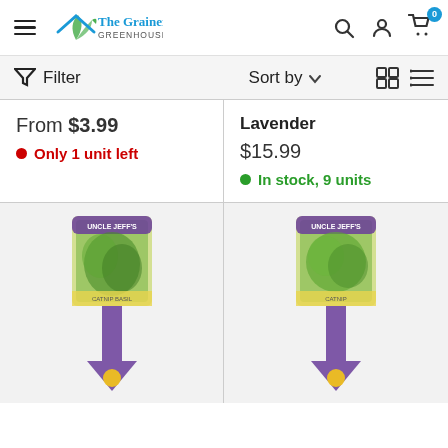The Grainery Greenhouse — navigation header with hamburger menu, logo, search, account, cart (0)
Filter | Sort by ▾ | grid/list view icons
From $3.99
● Only 1 unit left
Lavender
$15.99
● In stock, 9 units
[Figure (photo): Seed packet stake product image - left item, blurred, purple arrow stake with yellow sun, green herb image on packet]
[Figure (photo): Seed packet stake product image - right item (Catnip), blurred, purple arrow stake with yellow sun, green herb image on packet]